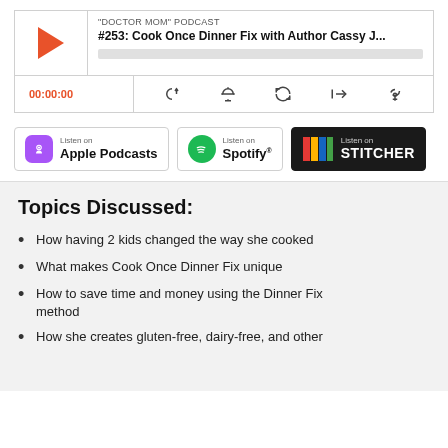[Figure (screenshot): Podcast audio player widget showing play button, podcast label 'DOCTOR MOM PODCAST', episode title '#253: Cook Once Dinner Fix with Author Cassy J...', progress bar, time display 00:00:00, and playback control icons]
[Figure (screenshot): Three podcast platform badges: Listen on Apple Podcasts, Listen on Spotify, Listen on STITCHER]
Topics Discussed:
How having 2 kids changed the way she cooked
What makes Cook Once Dinner Fix unique
How to save time and money using the Dinner Fix method
How she creates gluten-free, dairy-free, and other